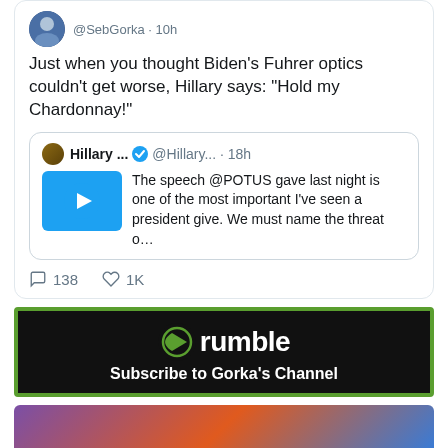[Figure (screenshot): Tweet from @SebGorka posted 10h ago with text: Just when you thought Biden's Fuhrer optics couldn't get worse, Hillary says: "Hold my Chardonnay!" with a quoted tweet from Hillary... @Hillary... 18h saying: The speech @POTUS gave last night is one of the most important I've seen a president give. We must name the threat o... with 138 comments and 1K likes]
[Figure (screenshot): Rumble banner ad with black background and green border. Shows Rumble logo (green play button icon) with white text 'rumble' and 'Subscribe to Gorka's Channel']
[Figure (screenshot): Bottom partial preview of another content item with colorful purple-orange-blue gradient background]